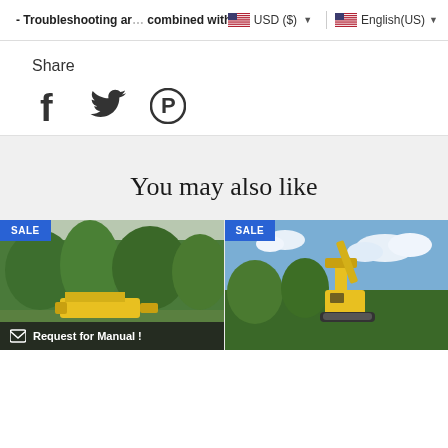- Troubleshooting and combined with detai | USD ($) ▼ | English(US) ▼
Share
[Figure (infographic): Social share icons: Facebook (f), Twitter (bird), Pinterest (P circle)]
You may also like
[Figure (photo): Product card with SALE badge, green outdoor scene with yellow machine, and 'Request for Manual!' button at bottom]
[Figure (photo): Product card with SALE badge, outdoor scene with yellow construction equipment against blue sky]